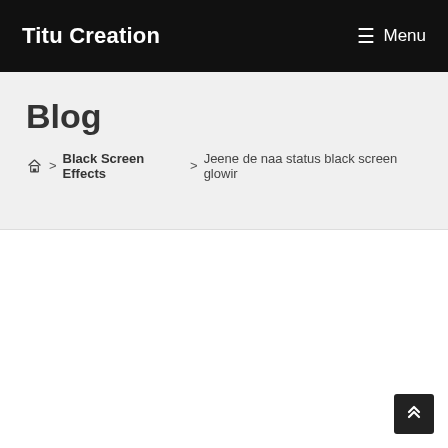Titu Creation   ☰ Menu
Blog
🏠 > Black Screen Effects > Jeene de naa status black screen glowir